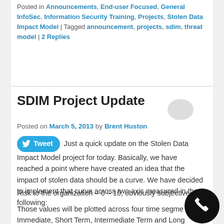Posted in Announcements, End-user Focused, General InfoSec, Information Security Training, Projects, Stolen Data Impact Model | Tagged announcement, projects, sdim, threat model | 2 Replies
SDIM Project Update
[Figure (illustration): Speech bubble / comment icon in light gray]
Posted on March 5, 2013 by Brent Huston
Just a quick update on the Stolen Data Impact Model project for today. Basically, we have reached a point where have created an idea that the impact of stolen data should be a curve. We have decided to implement that curve across two axis measured in the following:
Risk to the organization – 0 – 10, obviously subjective.
Those values will be plotted across four time segments: Immediate, Short Term, Intermediate Term and Long Term. Some folks are still discussing if we need a
[Figure (illustration): Black circle with white phone handset icon]